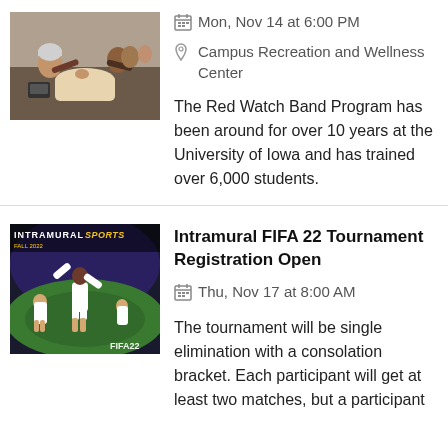[Figure (photo): People practicing CPR on mannequins in a classroom setting]
Mon, Nov 14 at 6:00 PM
Campus Recreation and Wellness Center
The Red Watch Band Program has been around for over 10 years at the University of Iowa and has trained over 6,000 students.
[Figure (photo): FIFA 22 Intramural Sports promotional image showing soccer players on a stadium field]
Intramural FIFA 22 Tournament Registration Open
Thu, Nov 17 at 8:00 AM
The tournament will be single elimination with a consolation bracket. Each participant will get at least two matches, but a participant